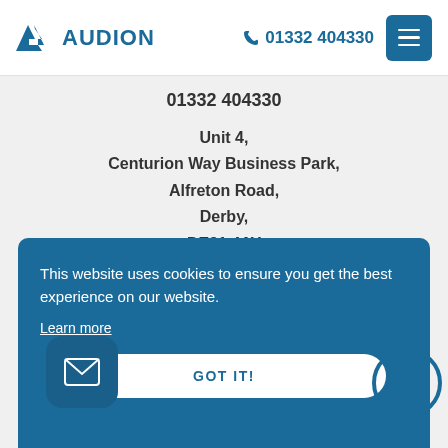AUDION | 01332 404330
01332 404330
Unit 4,
Centurion Way Business Park,
Alfreton Road,
Derby,
DE21 4AY
This website uses cookies to ensure you get the best experience on our website. Learn more
GOT IT!